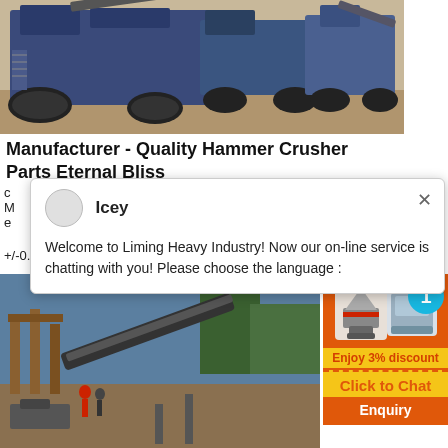[Figure (photo): Large blue tracked mobile crusher/screening machines parked on a dirt yard]
Manufacturer - Quality Hammer Crusher Parts Eternal Bliss
c
M
e
+/-0.01mm
[Figure (screenshot): Chat popup from Liming Heavy Industry with avatar named Icey and message: Welcome to Liming Heavy Industry! Now our on-line service is chatting with you! Please choose the language :]
[Figure (photo): Construction/mining site with conveyor belt and machinery]
[Figure (infographic): Orange sidebar ad showing machinery photos, badge with number 1, Enjoy 3% discount banner, Click to Chat button, and Enquiry link]